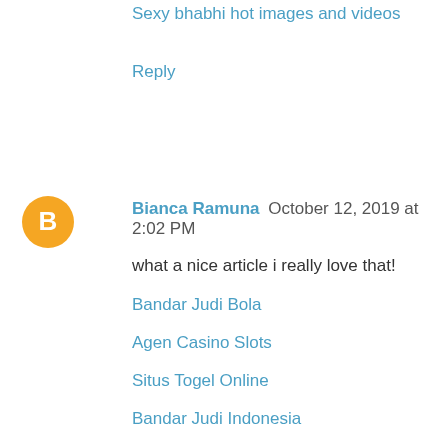Sexy bhabhi hot images and videos
Reply
[Figure (illustration): Orange circle avatar/logo with white letter B for Blogger]
Bianca Ramuna  October 12, 2019 at 2:02 PM
what a nice article i really love that!
Bandar Judi Bola
Agen Casino Slots
Situs Togel Online
Bandar Judi Indonesia
Agen Judi Indonesia
Situs Judi Indonesia
Poker Online Indonesia
Komunitas Poker Indonesia